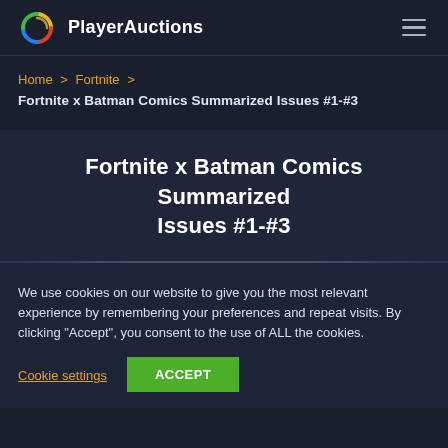PlayerAuctions
Home > Fortnite > Fortnite x Batman Comics Summarized Issues #1-#3
Fortnite x Batman Comics Summarized Issues #1-#3
We use cookies on our website to give you the most relevant experience by remembering your preferences and repeat visits. By clicking "Accept", you consent to the use of ALL the cookies.
Cookie settings | ACCEPT